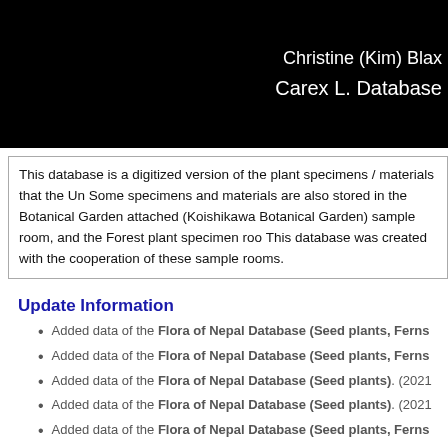Christine (Kim) Blax
Carex L. Database
This database is a digitized version of the plant specimens / materials that the Un... Some specimens and materials are also stored in the Botanical Garden attached... (Koishikawa Botanical Garden) sample room, and the Forest plant specimen roo... This database was created with the cooperation of these sample rooms.
Update Information
Added data of the Flora of Nepal Database (Seed plants, Ferns...
Added data of the Flora of Nepal Database (Seed plants, Ferns...
Added data of the Flora of Nepal Database (Seed plants). (2021...
Added data of the Flora of Nepal Database (Seed plants). (2021...
Added data of the Flora of Nepal Database (Seed plants, Ferns...
Added data and images of the Carex L. Database.  (2021.3.25)
Added data and images of the Flora of Nepal Database (Seed pl...
Add POACEAE (GRAMINEAE) SUBFAMILY BAMBUSOIDEAE (...